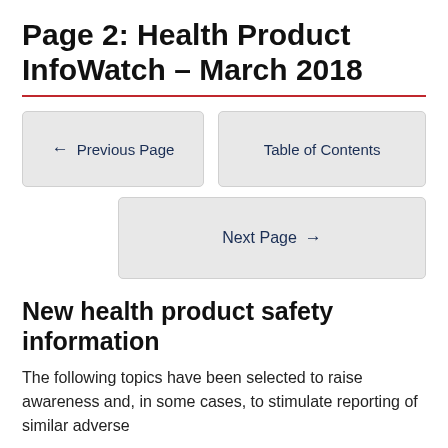Page 2: Health Product InfoWatch – March 2018
← Previous Page
Table of Contents
Next Page →
New health product safety information
The following topics have been selected to raise awareness and, in some cases, to stimulate reporting of similar adverse